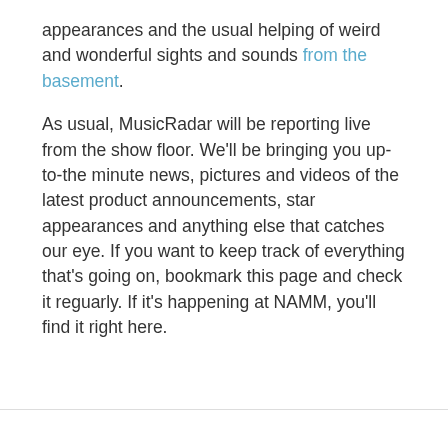appearances and the usual helping of weird and wonderful sights and sounds from the basement.

As usual, MusicRadar will be reporting live from the show floor. We'll be bringing you up-to-the minute news, pictures and videos of the latest product announcements, star appearances and anything else that catches our eye. If you want to keep track of everything that's going on, bookmark this page and check it reguarly. If it's happening at NAMM, you'll find it right here.